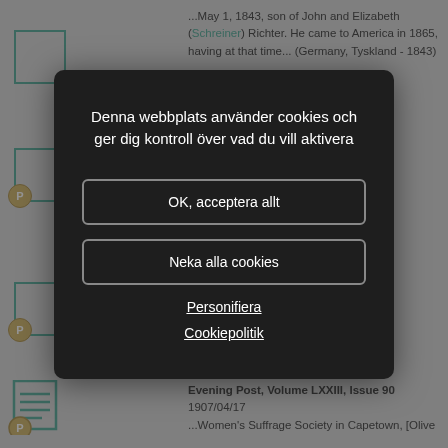...May 1, 1843, son of John and Elizabeth (Schreiner) Richter. He came to America in 1865, having at that time... (Germany, Tyskland - 1843)
...d to... ...82)
...se ...nd
Evening Post, Volume LXXIII, Issue 90 1907/04/17
...Women's Suffrage Society in Capetown, [Olive
[Figure (screenshot): Cookie consent modal dialog on a genealogy/search website. The modal has a dark background with white text reading 'Denna webbplats använder cookies och ger dig kontroll över vad du vill aktivera', two buttons 'OK, acceptera allt' and 'Neka alla cookies', and two links 'Personifiera' and 'Cookiepolitik'. Behind the modal are search result entries with teal document icons and gold P badges.]